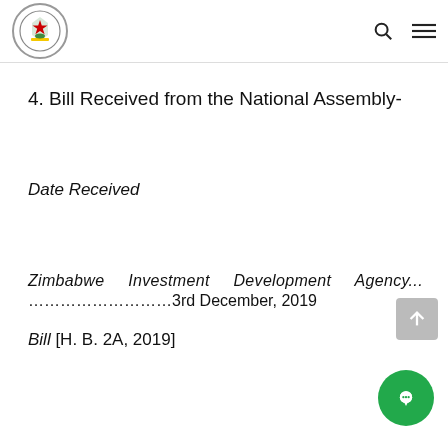Parliament of Zimbabwe – navigation logo, search icon, menu icon
4. Bill Received from the National Assembly-
Date Received
Zimbabwe Investment Development Agency…………………………3rd December, 2019
Bill [H. B. 2A, 2019]